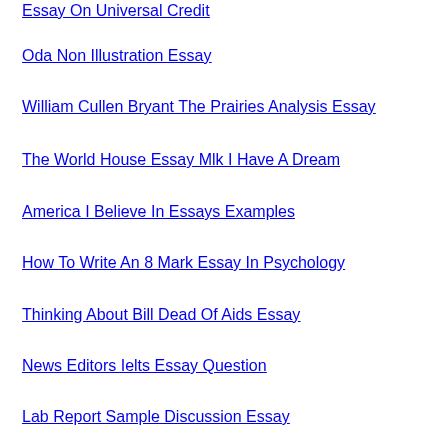Essay On Universal Credit
Oda Non Illustration Essay
William Cullen Bryant The Prairies Analysis Essay
The World House Essay Mlk I Have A Dream
America I Believe In Essays Examples
How To Write An 8 Mark Essay In Psychology
Thinking About Bill Dead Of Aids Essay
News Editors Ielts Essay Question
Lab Report Sample Discussion Essay